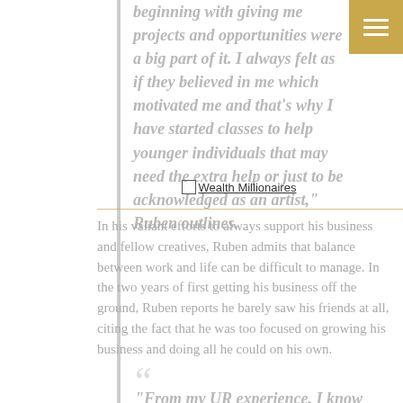beginning with giving me projects and opportunities were a big part of it. I always felt as if they believed in me which motivated me and that’s why I have started classes to help younger individuals that may need the extra help or just to be acknowledged as an artist,” Ruben outlines.
[Figure (logo): Wealth Millionaires logo image placeholder]
In his valiant efforts to always support his business and fellow creatives, Ruben admits that balance between work and life can be difficult to manage. In the two years of first getting his business off the ground, Ruben reports he barely saw his friends at all, citing the fact that he was too focused on growing his business and doing all he could on his own.
“From my UR experience, I know...